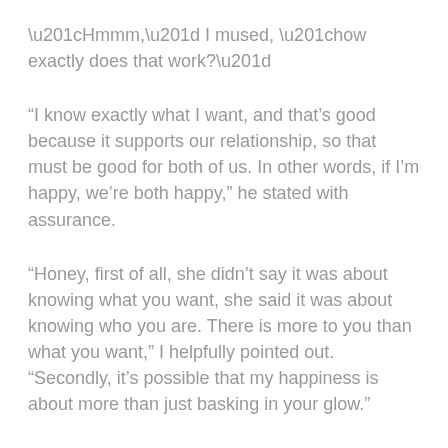“Hmmm,” I mused, “how exactly does that work?”
“I know exactly what I want, and that’s good because it supports our relationship, so that must be good for both of us. In other words, if I’m happy, we’re both happy,” he stated with assurance.
“Honey, first of all, she didn’t say it was about knowing what you want, she said it was about knowing who you are. There is more to you than what you want,” I helpfully pointed out. “Secondly, it’s possible that my happiness is about more than just basking in your glow.”
He pondered that briefly. “You mean I’m not just the sum of my desires?” (Selective listening at work again.)
“Right, because then your name would be Endless-